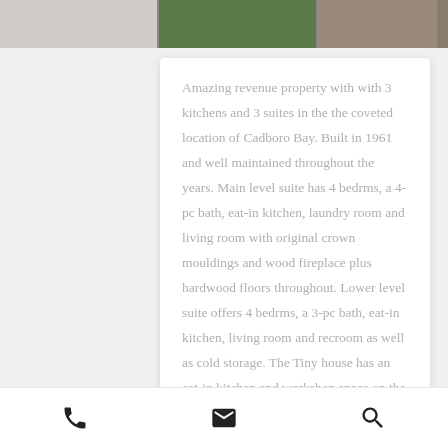[Figure (photo): Strip of property photos at the top of the listing page]
Amazing revenue property with with 3 kitchens and 3 suites in the the coveted location of Cadboro Bay. Built in 1961 and well maintained throughout the years. Main level suite has 4 bedrms, a 4-pc bath, eat-in kitchen, laundry room and living room with original crown mouldings and wood fireplace plus hardwood floors throughout. Lower level suite offers 4 bedrms, a 3-pc bath, eat-in kitchen, living room and recroom as well as cold storage. The Tiny house has an eat-in kitchen and workshop space on the lower floor. The upper level has a living room, single bedroom, 4-pc bath and vaulted ceiling.
[Figure (infographic): Bottom navigation bar with phone, email, and search icons]